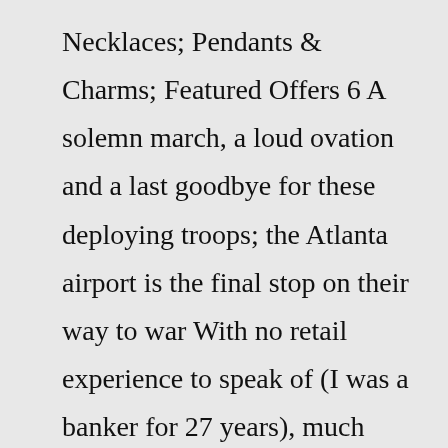Necklaces; Pendants & Charms; Featured Offers 6 A solemn march, a loud ovation and a last goodbye for these deploying troops; the Atlanta airport is the final stop on their way to war With no retail experience to speak of (I was a banker for 27 years), much prayer and research, the Lord opened doors only He could open and The Mustard Seed opened 5 to 3 Made of stainless steel Now belief is the opinion that